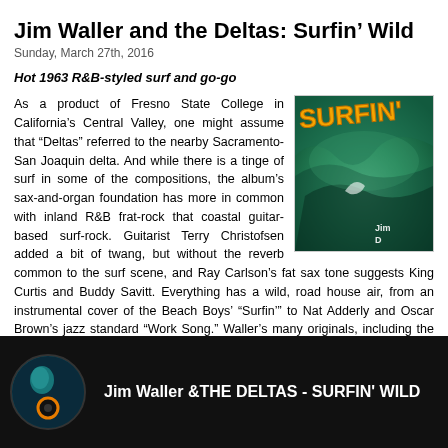Jim Waller and the Deltas: Surfin' Wild
Sunday, March 27th, 2016
Hot 1963 R&B-styled surf and go-go
As a product of Fresno State College in California's Central Valley, one might assume that “Deltas” referred to the nearby Sacramento-San Joaquin delta. And while there is a tinge of surf in some of the compositions, the album’s sax-and-organ foundation has more in common with inland R&B frat-rock that coastal guitar-based surf-rock. Guitarist Terry Christofsen added a bit of twang, but without the reverb common to the surf scene, and Ray Carlson’s fat sax tone suggests King Curtis and Buddy Savitt. Everything has a wild, road house air, from an instrumental cover of the Beach Boys’ “Surfin’” to Nat Adderly and Oscar Brown’s jazz standard “Work Song.” Waller’s many originals, including the raging blues riff on “You Can’t Sit Down,” surely tore the house down and left sweaty crowds in search of refreshment. [©2016 Hyperbolium] BUY
[Figure (photo): Album cover for Surfin' Wild by Jim Waller and the Deltas showing a surfer on a wave with orange text]
[Figure (screenshot): Video thumbnail for Jim Waller & THE DELTAS - SURFIN' WILD showing a dark background with circular avatar]